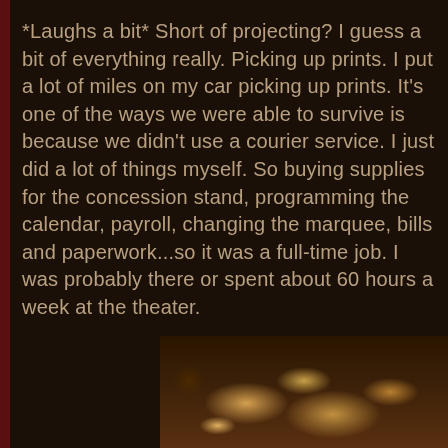*Laughs a bit* Short of projecting? I guess a bit of everything really. Picking up prints. I put a lot of miles on my car picking up prints. It's one of the ways we were able to survive is because we didn't use a courier service. I just did a lot of things myself. So buying supplies for the concession stand, programming the calendar, payroll, changing the marquee, bills and paperwork...so it was a full-time job. I was probably there or spent about 60 hours a week at the theater.
[Figure (photo): Dark warm-toned photo showing popcorn or food items in dim amber lighting at bottom of page]